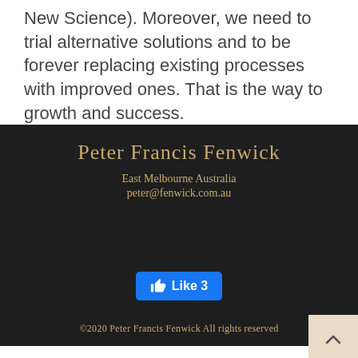New Science). Moreover, we need to trial alternative solutions and to be forever replacing existing processes with improved ones. That is the way to growth and success.
Peter Francis Fenwick
East Melbourne  Australia
peter@fenwick.com.au
[Figure (other): Facebook Like button showing 'Like 3']
©2020 Peter Francis Fenwick  All rights reserved